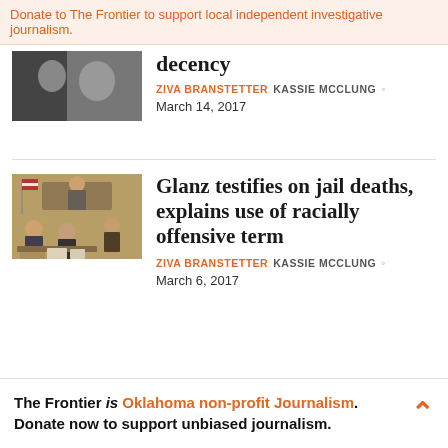Donate to The Frontier to support local independent investigative journalism.
decency
ZIVA BRANSTETTER KASSIE MCCLUNG · March 14, 2017
Glanz testifies on jail deaths, explains use of racially offensive term
[Figure (illustration): Courtroom sketch showing figures at a bench with judge and attorneys]
ZIVA BRANSTETTER KASSIE MCCLUNG · March 6, 2017
The Frontier is Oklahoma non-profit Journalism. Donate now to support unbiased journalism.